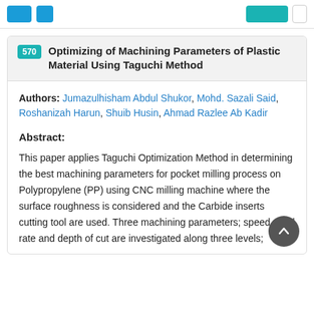[Navigation bar with buttons]
570 Optimizing of Machining Parameters of Plastic Material Using Taguchi Method
Authors: Jumazulhisham Abdul Shukor, Mohd. Sazali Said, Roshanizah Harun, Shuib Husin, Ahmad Razlee Ab Kadir
Abstract:
This paper applies Taguchi Optimization Method in determining the best machining parameters for pocket milling process on Polypropylene (PP) using CNC milling machine where the surface roughness is considered and the Carbide inserts cutting tool are used. Three machining parameters; speed, feed rate and depth of cut are investigated along three levels;